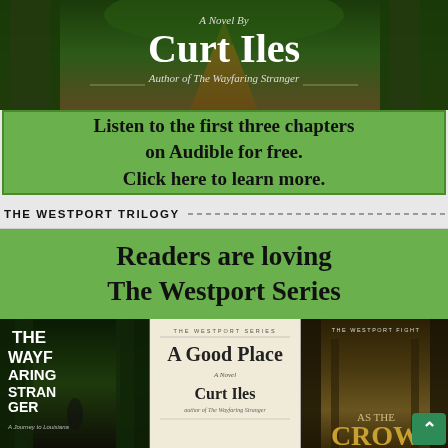[Figure (illustration): Forest path book cover with dark green trees. Text reads: 'A Novel By Curt Iles, Author of The Wayfaring Stranger']
[Figure (infographic): Green promotional banner with text: 'Listen to the first three chapters on Audible for free. Click here to learn more.']
THE WESTPORT TRILOGY
[Figure (infographic): Green banner reading 'Readers are loving The Westport Series' followed by three book covers: The Wayfaring Stranger, A Good Place (Curt Iles), and The Westport Fight / As The Crow series]